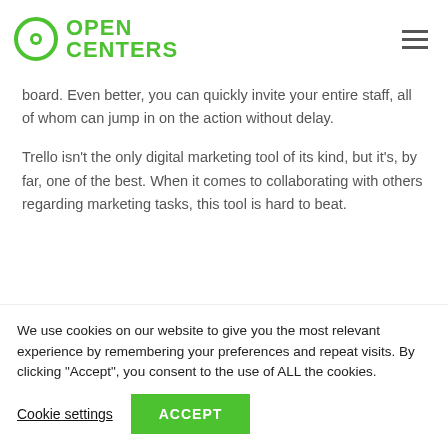OPEN CENTERS
board. Even better, you can quickly invite your entire staff, all of whom can jump in on the action without delay.
Trello isn't the only digital marketing tool of its kind, but it's, by far, one of the best. When it comes to collaborating with others regarding marketing tasks, this tool is hard to beat.
We use cookies on our website to give you the most relevant experience by remembering your preferences and repeat visits. By clicking "Accept", you consent to the use of ALL the cookies.
Cookie settings  ACCEPT